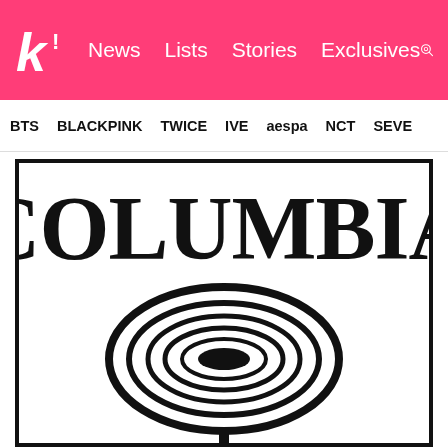k! News Lists Stories Exclusives
BTS BLACKPINK TWICE IVE aespa NCT SEVE
[Figure (logo): Columbia Records logo — large serif text 'COLUMBIA' above a concentric-ellipse eye/record graphic with a vertical stem and angular lines below, black on white, inside a thick black border frame]